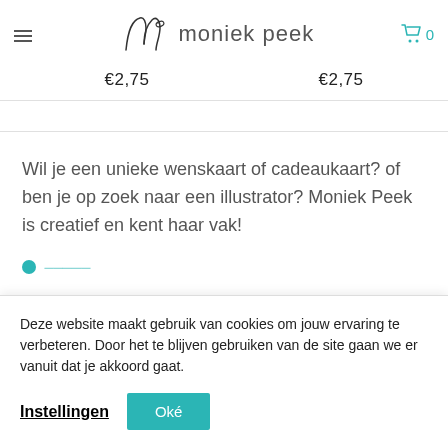moniek peek
€2,75   €2,75
Wil je een unieke wenskaart of cadeaukaart? of ben je op zoek naar een illustrator? Moniek Peek is creatief en kent haar vak!
Deze website maakt gebruik van cookies om jouw ervaring te verbeteren. Door het te blijven gebruiken van de site gaan we er vanuit dat je akkoord gaat.
Instellingen  Oké